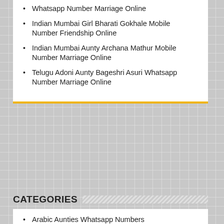Whatsapp Number Marriage Online
Indian Mumbai Girl Bharati Gokhale Mobile Number Friendship Online
Indian Mumbai Aunty Archana Mathur Mobile Number Marriage Online
Telugu Adoni Aunty Bageshri Asuri Whatsapp Number Marriage Online
CATEGORIES
Arabic Aunties Whatsapp Numbers
Arabic Girls Whatsapp Groups
Arabic Girls Whatsapp Numbers
Bangladeshi Aunties Whatsapp Numbers
Bangladeshi Girls Whatsapp Groups
Bangladeshi Girls Whatsapp Numbers
Gujarati Aunties Whatsapp Numbers
Gujarati Girls Whatsapp Groups
Gujarati Girls Whatsapp Numbers
Indian Aunties Mobile Numbers